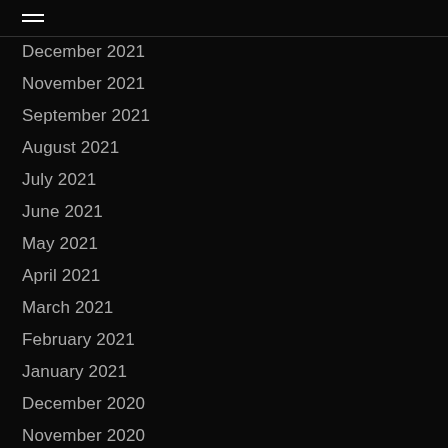≡
December 2021
November 2021
September 2021
August 2021
July 2021
June 2021
May 2021
April 2021
March 2021
February 2021
January 2021
December 2020
November 2020
October 2020
September 2020
August 2020
July 2020
June 2020